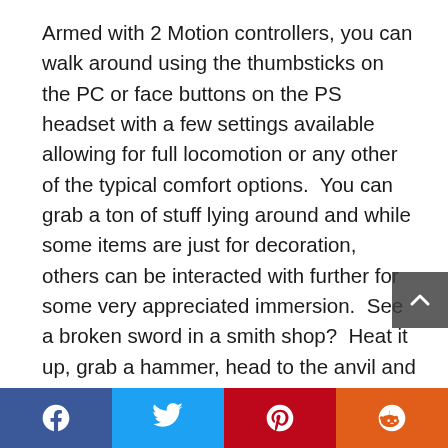Armed with 2 Motion controllers, you can walk around using the thumbsticks on the PC or face buttons on the PS headset with a few settings available allowing for full locomotion or any other of the typical comfort options.  You can grab a ton of stuff lying around and while some items are just for decoration, others can be interacted with further for some very appreciated immersion.  See a broken sword in a smith shop?  Heat it up, grab a hammer, head to the anvil and straighten that bad boy out.  What about that dog that keeps following you around?  Why not give him a piece of cheese or play fetch with him?  You can do that!  The level of immersion throughout the game is stunning and throughout my play I couldn't help but marvel at just how much care has went into placing you in this world.  Melee combat puts you in toe-to-toe action with a few different foes and thanks to the physics at
[Figure (other): Social share bar with Facebook, Twitter, Pinterest, and Reddit buttons]